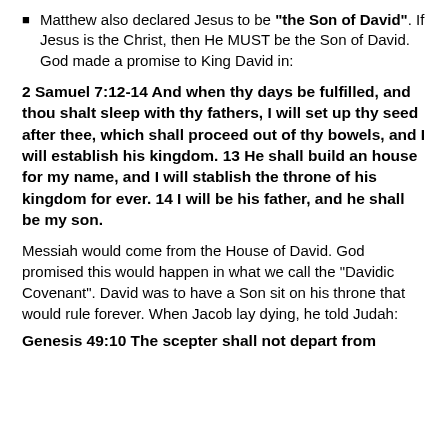Matthew also declared Jesus to be "the Son of David". If Jesus is the Christ, then He MUST be the Son of David. God made a promise to King David in:
2 Samuel 7:12-14 And when thy days be fulfilled, and thou shalt sleep with thy fathers, I will set up thy seed after thee, which shall proceed out of thy bowels, and I will establish his kingdom. 13 He shall build an house for my name, and I will stablish the throne of his kingdom for ever. 14 I will be his father, and he shall be my son.
Messiah would come from the House of David. God promised this would happen in what we call the “Davidic Covenant”. David was to have a Son sit on his throne that would rule forever. When Jacob lay dying, he told Judah:
Genesis 49:10 The scepter shall not depart from